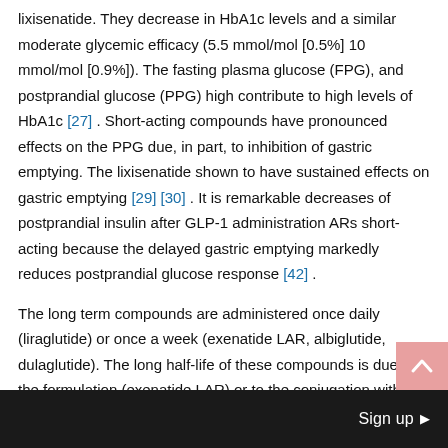lixisenatide. They decrease in HbA1c levels and a similar moderate glycemic efficacy (5.5 mmol/mol [0.5%] 10 mmol/mol [0.9%]). The fasting plasma glucose (FPG), and postprandial glucose (PPG) high contribute to high levels of HbA1c [27] . Short-acting compounds have pronounced effects on the PPG due, in part, to inhibition of gastric emptying. The lixisenatide shown to have sustained effects on gastric emptying [29] [30] . It is remarkable decreases of postprandial insulin after GLP-1 administration ARs short-acting because the delayed gastric emptying markedly reduces postprandial glucose response [42] .
The long term compounds are administered once daily (liraglutide) or once a week (exenatide LAR, albiglutide, dulaglutide). The long half-life of these compounds is due to the formulation (exenatide LAR) or to the conjugation with various other molecules such as
Sign up